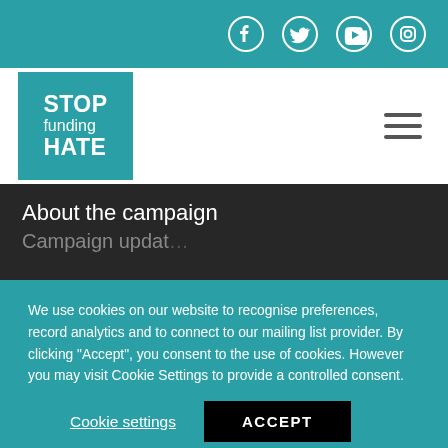[Figure (logo): Social media icons bar with Facebook, Twitter, YouTube, and Instagram icons on teal background]
[Figure (logo): Stop Funding Hate logo in teal box on white navigation bar with hamburger menu icon]
About the campaign
We use cookies on our website to recognise preferences, record analytics and to connect to our mailing list provider. By clicking "Accept", you consent to the use of cookies. However you may visit Cookie Settings to provide a controlled consent.
Cookie settings  ACCEPT